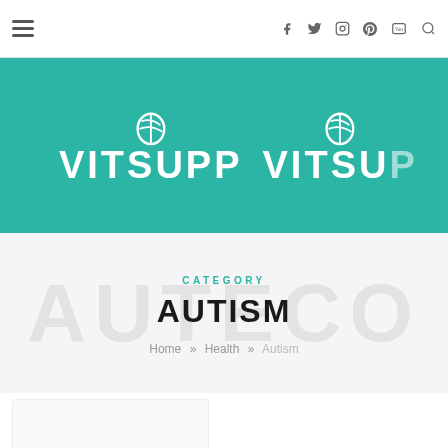VITSUPP — navigation bar with hamburger menu, social icons (Facebook, Twitter, Instagram, Pinterest, YouTube), and search icon
[Figure (logo): VITSUPP brand logo on teal background with leaf icons, repeated]
CATEGORY
AUTISM
Home » Health » Autism